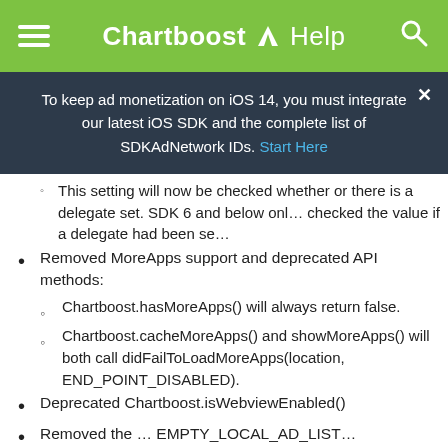Chartboost Help
To keep ad monetization on iOS 14, you must integrate our latest iOS SDK and the complete list of SDKAdNetwork IDs. Start Here
This setting will now be checked whether or there is a delegate set. SDK 6 and below only checked the value if a delegate had been se...
Removed MoreApps support and deprecated API methods:
Chartboost.hasMoreApps() will always return false.
Chartboost.cacheMoreApps() and showMoreApps() will both call didFailToLoadMoreApps(location, END_POINT_DISABLED).
Deprecated Chartboost.isWebviewEnabled()
Removed the ... EMPTY_LOCAL_AD_LIST...